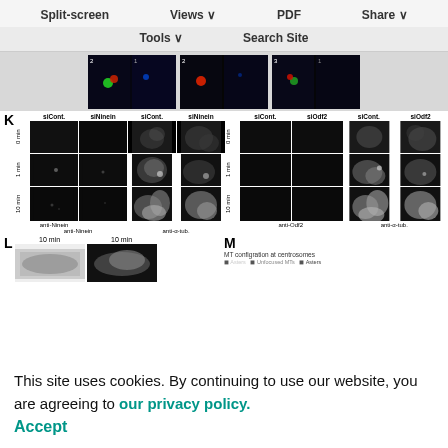[Figure (screenshot): Website toolbar with Split-screen, Views, PDF, Share buttons in first row, and Tools, Search Site in second row]
[Figure (photo): Strip of fluorescence microscopy images showing colored spots on dark background]
[Figure (photo): Panel K: Grid of fluorescence microscopy images showing siCont/siNinein and siCont/siOdf2 conditions at 0 min, 1 min, 10 min time points with anti-Ninein, anti-alpha-tub, anti-Odf2, anti-alpha-tub labels]
[Figure (photo): Panel L: Microscopy images at 10 min timepoint]
[Figure (photo): Panel M: MT configuration at centrosomes chart partially visible]
This site uses cookies. By continuing to use our website, you are agreeing to our privacy policy. Accept